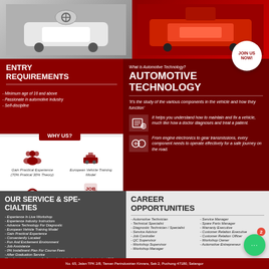[Figure (photo): Two photos side by side: left shows a white Mercedes-Benz in a service workshop, right shows a red Ferrari with hood open]
ENTRY REQUIREMENTS
- Minimum age of 16 and above
- Passionate in automotive industry
- Self-discipline
What is Automotive Technology?
AUTOMOTIVE TECHNOLOGY
'It's the study of the various components in the vehicle and how they function'
It helps you understand how to maintain and fix a vehicle, much like how a doctor diagnoses and treat a patient.
From engine electronics to gear transmissions, every component needs to operate effectively for a safe journey on the road.
JOIN US NOW!
WHY US?
Gain Practical Experience (70% Pratical 30% Theory)
European Vehicle Training Model
Collaboration With Automotive Industry
Job Placement Assistance
OUR SERVICE & SPECIALTIES
- Experience In Live Workshop
- Experience Industry Instructors
- Advance Technology For Diagnostic
- European Vehicle Training Model
- Gain Practical Experience
- Conveniently Located
- Fun And Excitement Environment
- Job Assistance
- 0% Installment Plan For Course Fees
- After Graduation Service
*Complimentary short course after 1 year of graduation for free diagnostic technology! T&C applied.
CAREER OPPORTUNITIES
- Automotive Technician
- Technical Specialist
- Diagnostic Technician / Specialist
- Service Advisor
- Job Controller
- QC Supervisor
- Workshop Supervisor
- Workshop Manager
- Service Manager
- Spare Parts Manager
- Warranty Executive
- Customer Relation Executive
- Customer Relation Officer
- Workshop Owner
- Automotive Entrepreneur
No. 65, Jalan TPK 2/8, Taman Perindustrian Kinrara, Sek 2, Puchong 47180, Selangor